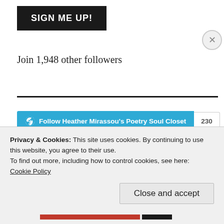[Figure (screenshot): Black button with white bold text reading SIGN ME UP!]
Join 1,948 other followers
[Figure (screenshot): WordPress Follow button in teal/blue reading 'Follow Heather Mirassou's Poetry Soul Closet' with follower count badge showing 230]
RECENT POSTS
Privacy & Cookies: This site uses cookies. By continuing to use this website, you agree to their use.
To find out more, including how to control cookies, see here:
Cookie Policy
Close and accept